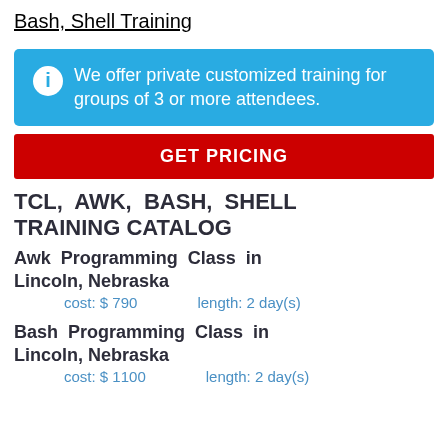Bash, Shell Training
We offer private customized training for groups of 3 or more attendees.
GET PRICING
TCL, AWK, BASH, SHELL TRAINING CATALOG
Awk Programming Class in Lincoln, Nebraska
cost: $ 790    length: 2 day(s)
Bash Programming Class in Lincoln, Nebraska
cost: $ 1100    length: 2 day(s)